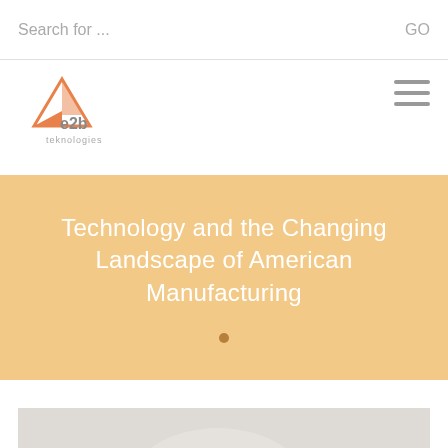Search for ...   GO
[Figure (logo): e2b teknologies logo with orange/red arrow triangle and company name]
Technology and the Changing Landscape of American Manufacturing
[Figure (photo): Industrial manufacturing plant with smokestacks and steam, gray sky background]